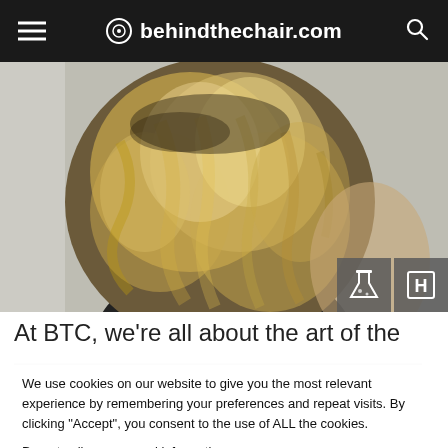behindthechair.com
[Figure (photo): Back view of a woman with wavy blonde highlighted hair, black top, against a light gray background. Two icon buttons (flask/chemistry and H icon) are overlaid in the bottom-right corner of the photo.]
At BTC, we're all about the art of the
We use cookies on our website to give you the most relevant experience by remembering your preferences and repeat visits. By clicking “Accept”, you consent to the use of ALL the cookies.
Do not sell my personal information.